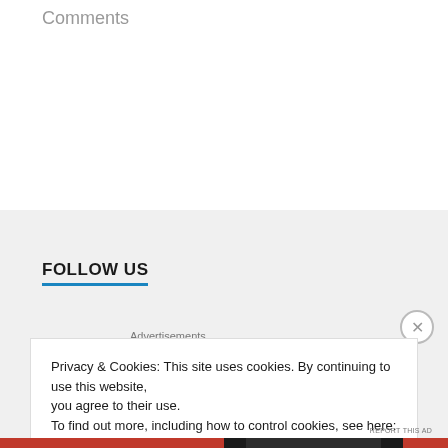Comments
FOLLOW US
Advertisements
Privacy & Cookies: This site uses cookies. By continuing to use this website, you agree to their use.
To find out more, including how to control cookies, see here: Cookie Policy
Close and accept